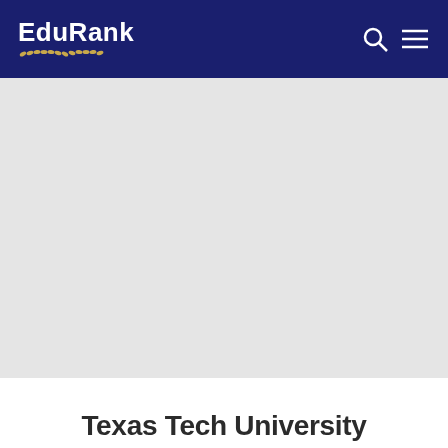EduRank
[Figure (other): Large gray placeholder image area below navigation bar]
Texas Tech University